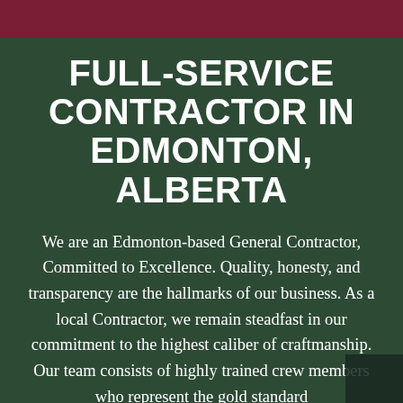FULL-SERVICE CONTRACTOR IN EDMONTON, ALBERTA
We are an Edmonton-based General Contractor, Committed to Excellence. Quality, honesty, and transparency are the hallmarks of our business. As a local Contractor, we remain steadfast in our commitment to the highest caliber of craftmanship. Our team consists of highly trained crew members who represent the gold standard